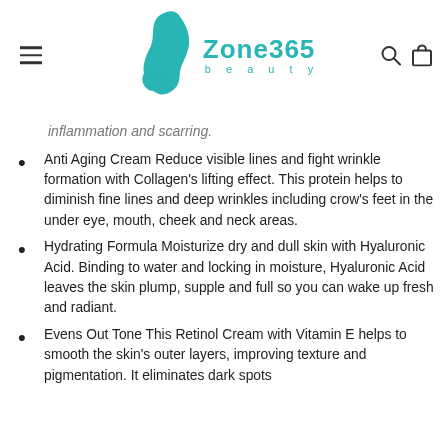[Figure (logo): Zone365 Beauty logo with teal face silhouette and teal text]
inflammation and scarring.
Anti Aging Cream Reduce visible lines and fight wrinkle formation with Collagen's lifting effect. This protein helps to diminish fine lines and deep wrinkles including crow's feet in the under eye, mouth, cheek and neck areas.
Hydrating Formula Moisturize dry and dull skin with Hyaluronic Acid. Binding to water and locking in moisture, Hyaluronic Acid leaves the skin plump, supple and full so you can wake up fresh and radiant.
Evens Out Tone This Retinol Cream with Vitamin E helps to smooth the skin's outer layers, improving texture and pigmentation. It eliminates dark spots and evens skin tone by diminishing dark acids.